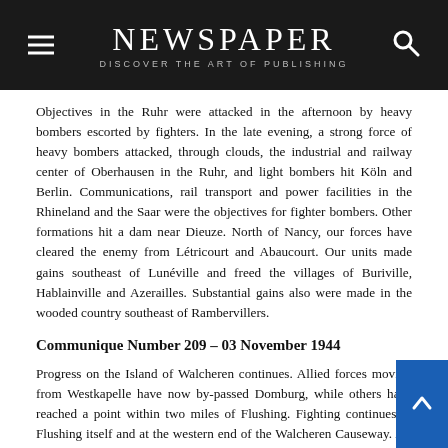NEWSPAPER
DISCOVER THE ART OF PUBLISHING
Objectives in the Ruhr were attacked in the afternoon by heavy bombers escorted by fighters. In the late evening, a strong force of heavy bombers attacked, through clouds, the industrial and railway center of Oberhausen in the Ruhr, and light bombers hit Köln and Berlin. Communications, rail transport and power facilities in the Rhineland and the Saar were the objectives for fighter bombers. Other formations hit a dam near Dieuze. North of Nancy, our forces have cleared the enemy from Létricourt and Abaucourt. Our units made gains southeast of Lunéville and freed the villages of Buriville, Hablainville and Azerailles. Substantial gains also were made in the wooded country southeast of Rambervillers.
Communique Number 209 – 03 November 1944
Progress on the Island of Walcheren continues. Allied forces moving from Westkapelle have now by-passed Domburg, while others have reached a point within two miles of Flushing. Fighting continues in Flushing itself and at the western end of the Walcheren Causeway. All resistance in the area of Knokk and Zeebrugge has ceased. Fighters and fighter bombers attacked enemy troop and positions in the region of Knokke during yesterday morning. Coastal guns and strong points on the Walcheren Island were also attacked, and close support